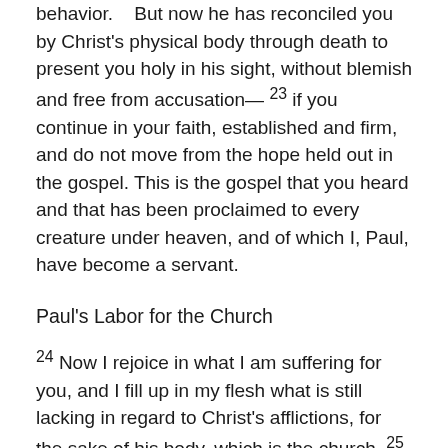behavior.    But now he has reconciled you by Christ's physical body through death to present you holy in his sight, without blemish and free from accusation— 23 if you continue in your faith, established and firm, and do not move from the hope held out in the gospel. This is the gospel that you heard and that has been proclaimed to every creature under heaven, and of which I, Paul, have become a servant.
Paul's Labor for the Church
24 Now I rejoice in what I am suffering for you, and I fill up in my flesh what is still lacking in regard to Christ's afflictions, for the sake of his body, which is the church. 25 I have become its servant by the commission God gave me to present to you the